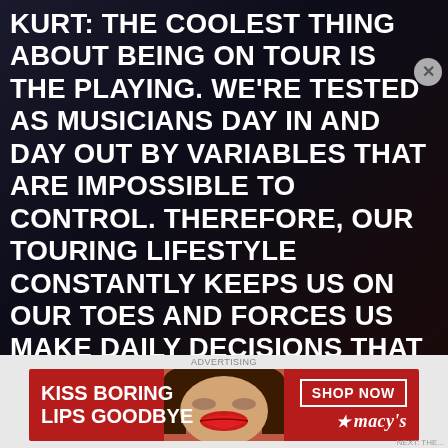KURT: THE COOLEST THING ABOUT BEING ON TOUR IS THE PLAYING. WE'RE TESTED AS MUSICIANS DAY IN AND DAY OUT BY VARIABLES THAT ARE IMPOSSIBLE TO CONTROL. THEREFORE, OUR TOURING LIFESTYLE CONSTANTLY KEEPS US ON OUR TOES AND FORCES US MAKE DAILY DECISIONS THAT INEVITABLY IMPACT A SHOW. WHEN THE PLAYING IS TIGHT AND THE PERFORMANCE RESONATES WITH THE FANS, EVERY BIT OF THE ROAD LIFE IS WORTH IT. A TOUGH ASPECT OF BEING ON THE ROAD IS MISSING OUR LOVED ONES. THIS PART OF THE ROAD SEEMS TO ONLY GET A BIT TOUGHER EACH TIME WE GO OUT, IT LIGHTS A FIRE WITHIN US TO DO OUR VERY BEST AND TO MAKE THOSE WE REPRESENT AT HOME PROUD.
[Figure (infographic): Advertisement banner for Macy's featuring 'KISS BORING LIPS GOODBYE' text on red background with a woman's face showing red lips, and a 'SHOP NOW' button with Macy's star logo.]